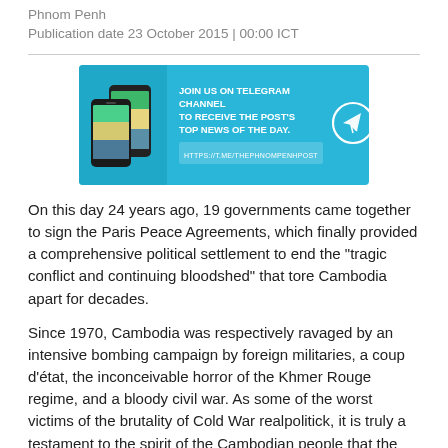Phnom Penh
Publication date 23 October 2015 | 00:00 ICT
[Figure (illustration): Advertisement banner for Phnom Penh Post Telegram channel. Blue background with phone mockups on left, text 'JOIN US ON TELEGRAM CHANNEL TO RECEIVE THE POST'S TOP NEWS OF THE DAY.' and URL 'HTTPS://T.ME/THEPHNOMPENHPOST', with a paper airplane icon on the right.]
On this day 24 years ago, 19 governments came together to sign the Paris Peace Agreements, which finally provided a comprehensive political settlement to end the "tragic conflict and continuing bloodshed" that tore Cambodia apart for decades.
Since 1970, Cambodia was respectively ravaged by an intensive bombing campaign by foreign militaries, a coup d'état, the inconceivable horror of the Khmer Rouge regime, and a bloody civil war. As some of the worst victims of the brutality of Cold War realpolitick, it is truly a testament to the spirit of the Cambodian people that the nation has been able to move on from such a history.